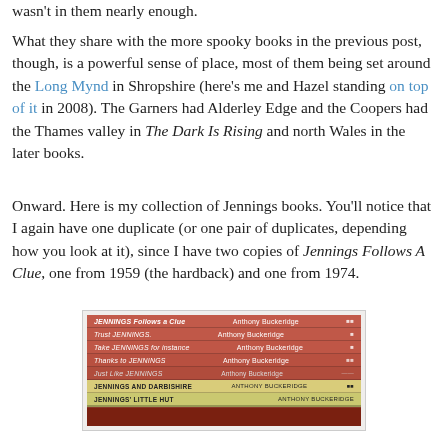wasn't in them nearly enough.
What they share with the more spooky books in the previous post, though, is a powerful sense of place, most of them being set around the Long Mynd in Shropshire (here's me and Hazel standing on top of it in 2008). The Garners had Alderley Edge and the Coopers had the Thames valley in The Dark Is Rising and north Wales in the later books.
Onward. Here is my collection of Jennings books. You'll notice that I again have one duplicate (or one pair of duplicates, depending how you look at it), since I have two copies of Jennings Follows A Clue, one from 1959 (the hardback) and one from 1974.
[Figure (photo): A photograph of a stack of Jennings books lying horizontally, showing their spines. Titles visible include: JENNINGS Follows a Clue (Anthony Buckeridge), Trust JENNINGS (Anthony Buckeridge), Take JENNINGS for instance (Anthony Buckeridge), Thanks to JENNINGS (Anthony Buckeridge), Just Like JENNINGS (Anthony Buckeridge), JENNINGS AND DARBISHIRE (Anthony Buckeridge), JENNINGS' LITTLE HUT (Anthony Buckeridge). Books have red/pink dust jackets with some yellow ones.]